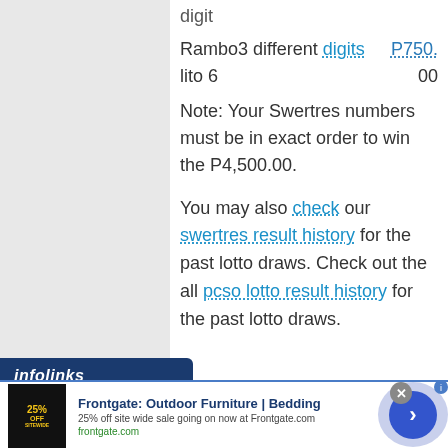digit
Rambo3 different digits   P750.
lito 6   00
Note: Your Swertres numbers must be in exact order to win the P4,500.00.
You may also check our swertres result history for the past lotto draws. Check out the all pcso lotto result history for the past lotto draws.
[Figure (screenshot): Infolinks ad bar and Frontgate advertisement banner with 25% off sitewide sale]